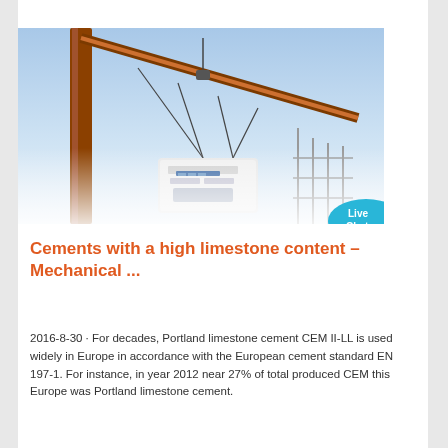[Figure (photo): Construction crane lifting heavy white machinery (tunnel boring or drilling equipment) against a light blue sky. Orange/rust-colored crane boom visible on left.]
[Figure (other): Live Chat speech bubble button overlay in cyan/blue color with white text 'Live Chat']
Cements with a high limestone content – Mechanical ...
2016-8-30 · For decades, Portland limestone cement CEM II-LL is used widely in Europe in accordance with the European cement standard EN 197-1. For instance, in year 2012 near 27% of total produced CEM this Europe was Portland limestone cement.